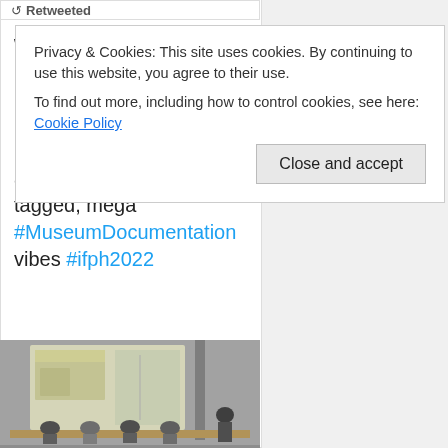Retweeted
Privacy & Cookies: This site uses cookies. By continuing to use this website, you agree to their use.
To find out more, including how to control cookies, see here: Cookie Policy
Close and accept
women in industrial museums by Sophie Kuehnlenz - this led to brilliant discussions on how "women's" objects are categorised and tagged, mega #MuseumDocumentation vibes #ifph2022
[Figure (photo): Photo of a panel discussion in a seminar room. Several people are seated at a table at the front, with a projected presentation visible on a screen behind them.]